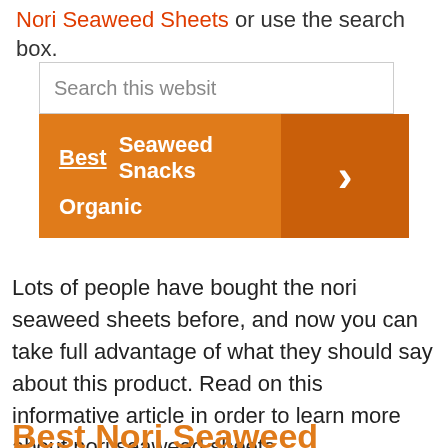Nori Seaweed Sheets or use the search box.
[Figure (screenshot): Search box widget with orange navigation bar showing 'Best Seaweed Snacks' and 'Organic' links with a right-arrow button]
Lots of people have bought the nori seaweed sheets before, and now you can take full advantage of what they should say about this product. Read on this informative article in order to learn more about nori seaweed sheets.
Best Nori Seaweed Sheets